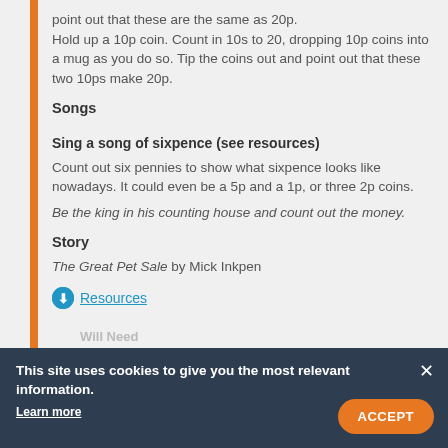point out that these are the same as 20p. Hold up a 10p coin. Count in 10s to 20, dropping 10p coins into a mug as you do so. Tip the coins out and point out that these two 10ps make 20p.
Songs
Sing a song of sixpence (see resources)
Count out six pennies to show what sixpence looks like nowadays. It could even be a 5p and a 1p, or three 2p coins.
Be the king in his counting house and count out the money.
Story
The Great Pet Sale by Mick Inkpen
Resources
This site uses cookies to give you the most relevant information. Learn more